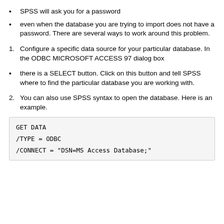SPSS will ask you for a password
even when the database you are trying to import does not have a password. There are several ways to work around this problem.
Configure a specific data source for your particular database. In the ODBC MICROSOFT ACCESS 97 dialog box
there is a SELECT button. Click on this button and tell SPSS where to find the particular database you are working with.
You can also use SPSS syntax to open the database. Here is an example.